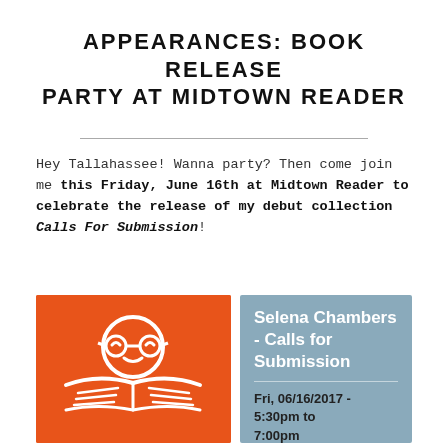APPEARANCES: BOOK RELEASE PARTY AT MIDTOWN READER
Hey Tallahassee! Wanna party? Then come join me this Friday, June 16th at Midtown Reader to celebrate the release of my debut collection Calls For Submission!
[Figure (illustration): Orange square illustration showing a cartoon face with glasses reading a book, white graphic on orange background — Midtown Reader logo]
Selena Chambers - Calls for Submission
Fri, 06/16/2017 - 5:30pm to 7:00pm